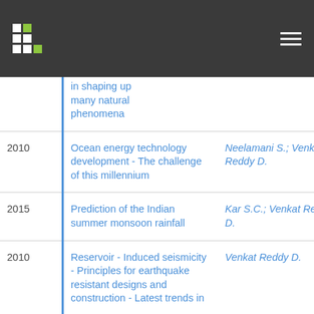Header navigation bar with logo and hamburger menu
| Year | Title | Authors |  |
| --- | --- | --- | --- |
|  | in shaping up many natural phenomena |  |  |
| 2010 | Ocean energy technology development - The challenge of this millennium | Neelamani S.; Venkat Reddy D. | - |
| 2015 | Prediction of the Indian summer monsoon rainfall | Kar S.C.; Venkat Reddy D. | - |
| 2010 | Reservoir - Induced seismicity - Principles for earthquake resistant designs and construction - Latest trends in | Venkat Reddy D. | - |